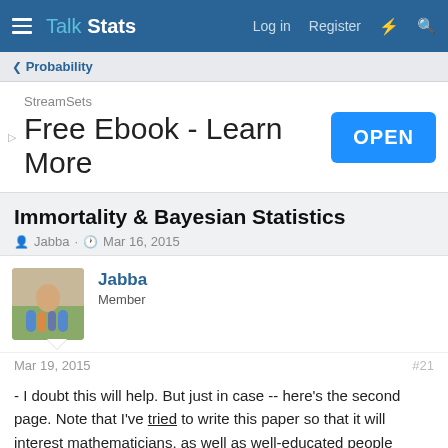Talk Stats — Log in  Register
< Probability
[Figure (screenshot): Advertisement banner: StreamSets — Free Ebook - Learn More, with OPEN button]
Immortality & Bayesian Statistics
Jabba · Mar 16, 2015
Jabba
Member
Mar 19, 2015
#21
- I doubt this will help. But just in case -- here's the second page. Note that I've tried to write this paper so that it will interest mathematicians, as well as well-educated people otherwise.